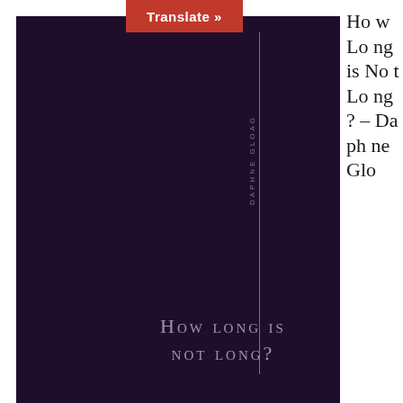[Figure (illustration): Book cover with dark purple/maroon background, a vertical line down the center, vertical author name text reading 'DAPHNE GLOAG', and book title 'HOW LONG IS NOT LONG?' in small caps at the bottom]
How Long is Not Long? – Daphne Gloag
Translate »